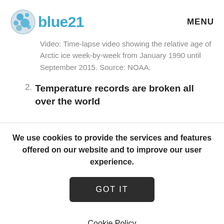blue21 | MENU
Video: Time-lapse video showing the relative age of Arctic ice week-by-week from January 1990 until September 2015. Source: NOAA.
2. Temperature records are broken all over the world
We use cookies to provide the services and features offered on our website and to improve our user experience.
GOT IT
Cookie Policy